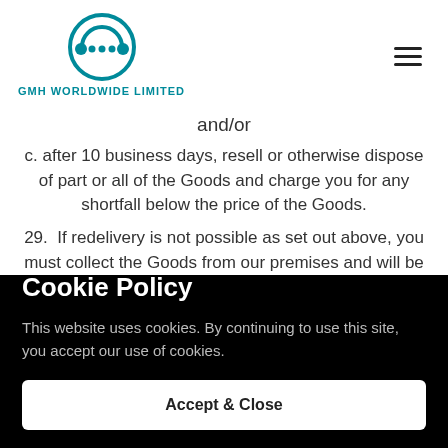GMH WORLDWIDE LIMITED
and/or
c. after 10 business days, resell or otherwise dispose of part or all of the Goods and charge you for any shortfall below the price of the Goods.
29.  If redelivery is not possible as set out above, you must collect the Goods from our premises and will be notified of this. We can charge you for all associated
Cookie Policy
This website uses cookies. By continuing to use this site, you accept our use of cookies.
Accept & Close